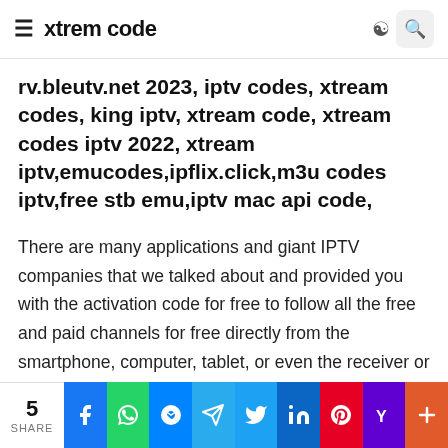xtrem code
rv.bleutv.net 2023, iptv codes, xtream codes, king iptv, xtream code, xtream codes iptv 2022, xtream iptv,emucodes,ipflix.click,m3u codes iptv,free stb emu,iptv mac api code,
There are many applications and giant IPTV companies that we talked about and provided you with the activation code for free to follow all the free and paid channels for free directly from the smartphone, computer, tablet, or even the receiver or Smart TV, and through it you can follow the channels of BeIN Sport, BeoutQ and Abu Dhabi Sports and therefore will not support any football match that escapes you directly…
5 SHARE | Facebook | WhatsApp | Messenger | Telegram | Twitter | LinkedIn | Pinterest | Yummly | More